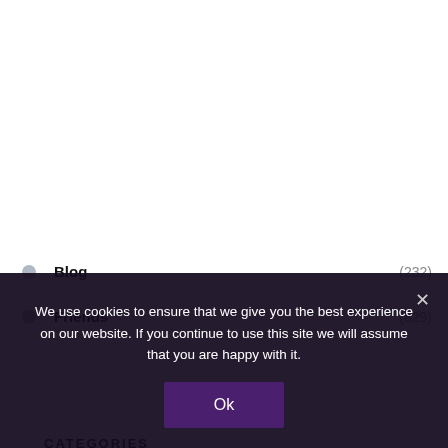CATEGORIES
Blog (232)
Friends (829)
We use cookies to ensure that we give you the best experience on our website. If you continue to use this site we will assume that you are happy with it.
Ok